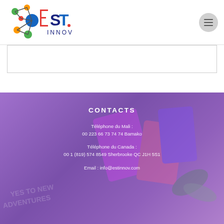[Figure (logo): EST INNOV logo with colorful molecule/network graphic on the left and EST INNOV text on the right]
[Figure (other): Hamburger menu button (three horizontal lines in a circle)]
CONTACTS
Téléphone  du Mali :
00 223 66 73 74 74 Bamako
Téléphone  du Canada :
00 1 (819) 574 8549 Sherbrooke QC J1H 5S1
Email : info@estinnov.com